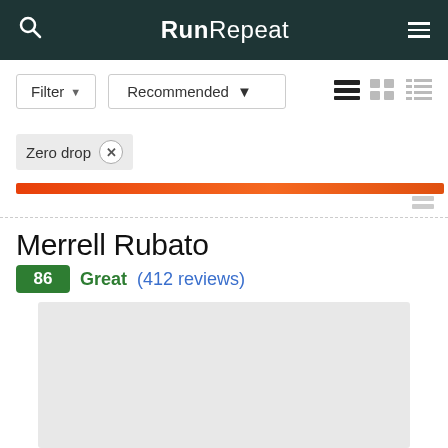RunRepeat
Filter Recommended
Zero drop ×
Merrell Rubato
86 Great (412 reviews)